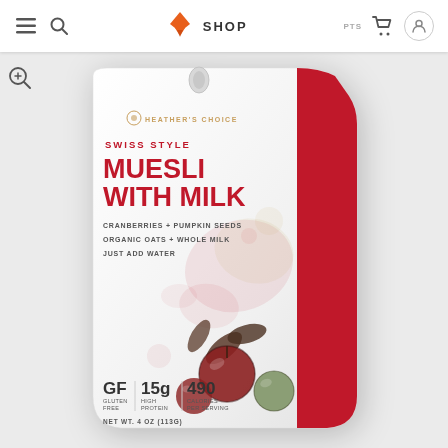SHOP
[Figure (photo): Product photo of Heather's Choice Swiss Style Muesli With Milk package. White resealable pouch with red accent strip on right side. Label reads: SWISS STYLE MUESLI WITH MILK, Cranberries + Pumpkin Seeds, Organic Oats + Whole Milk, Just Add Water. GF Gluten Free, 15g High Protein, 490 Calories Per Serving. Net Wt. 4 oz (113g). Illustrated cranberries on front.]